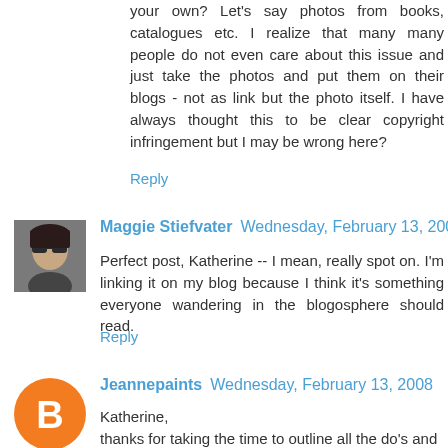your own? Let's say photos from books, catalogues etc. I realize that many many people do not even care about this issue and just take the photos and put them on their blogs - not as link but the photo itself. I have always thought this to be clear copyright infringement but I may be wrong here?
Reply
Maggie Stiefvater  Wednesday, February 13, 2008
Perfect post, Katherine -- I mean, really spot on. I'm linking it on my blog because I think it's something everyone wandering in the blogosphere should read.
Reply
[Figure (photo): Avatar photo of Maggie Stiefvater - woman with sunglasses]
Jeannepaints  Wednesday, February 13, 2008
[Figure (logo): Blogger orange B logo avatar for Jeannepaints]
Katherine,
thanks for taking the time to outline all the do's and don'ts
It was helpful.
I think a ot of the rules can be remembered by one basic rule that many of us follow as human beings...Treat others